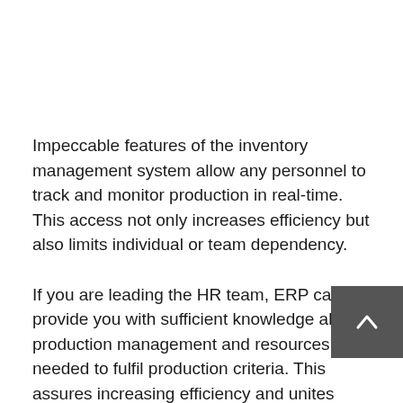Impeccable features of the inventory management system allow any personnel to track and monitor production in real-time. This access not only increases efficiency but also limits individual or team dependency.
If you are leading the HR team, ERP can provide you with sufficient knowledge about production management and resources needed to fulfil production criteria. This assures increasing efficiency and unites functional units with guaranteed performance.
Can you see more benefits from the ERP management system? When you get enough details of production